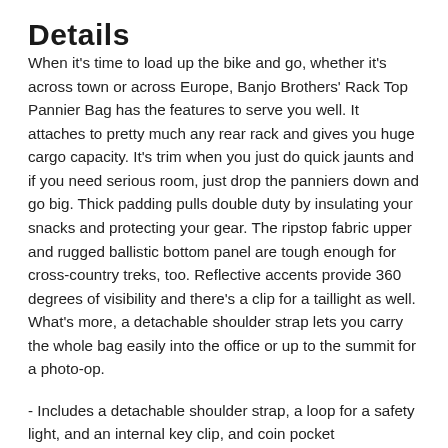Details
When it's time to load up the bike and go, whether it's across town or across Europe, Banjo Brothers' Rack Top Pannier Bag has the features to serve you well. It attaches to pretty much any rear rack and gives you huge cargo capacity. It's trim when you just do quick jaunts and if you need serious room, just drop the panniers down and go big. Thick padding pulls double duty by insulating your snacks and protecting your gear. The ripstop fabric upper and rugged ballistic bottom panel are tough enough for cross-country treks, too. Reflective accents provide 360 degrees of visibility and there's a clip for a taillight as well. What's more, a detachable shoulder strap lets you carry the whole bag easily into the office or up to the summit for a photo-op.
- Includes a detachable shoulder strap, a loop for a safety light, and an internal key clip, and coin pocket
- Expandable from 900 to 1300 cubic inches with a drop-